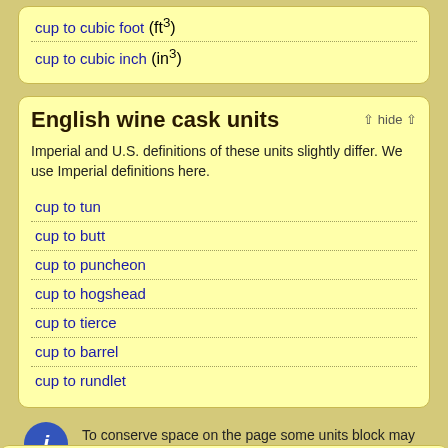cup to cubic foot (ft³)
cup to cubic inch (in³)
English wine cask units
Imperial and U.S. definitions of these units slightly differ. We use Imperial definitions here.
cup to tun
cup to butt
cup to puncheon
cup to hogshead
cup to tierce
cup to barrel
cup to rundlet
To conserve space on the page some units block may display collapsed. Tap any unit block header to expand/collapse it.